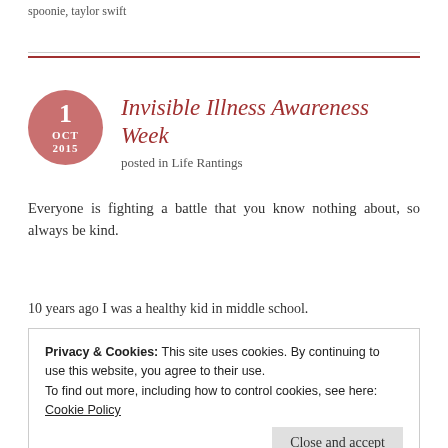spoonie, taylor swift
Invisible Illness Awareness Week
posted in Life Rantings
Everyone is fighting a battle that you know nothing about, so always be kind.
10 years ago I was a healthy kid in middle school.
Privacy & Cookies: This site uses cookies. By continuing to use this website, you agree to their use.
To find out more, including how to control cookies, see here:
Cookie Policy
Close and accept